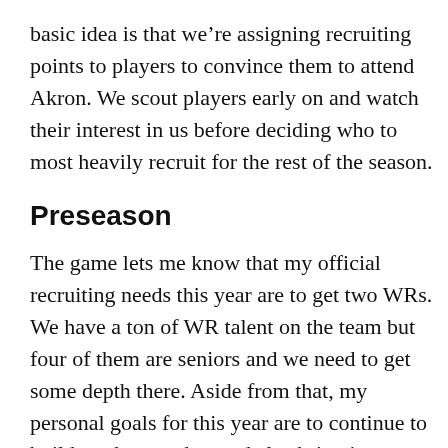basic idea is that we're assigning recruiting points to players to convince them to attend Akron. We scout players early on and watch their interest in us before deciding who to most heavily recruit for the rest of the season.
Preseason
The game lets me know that my official recruiting needs this year are to get two WRs. We have a ton of WR talent on the team but four of them are seniors and we need to get some depth there. Aside from that, my personal goals for this year are to continue to build up the trenches and also bring in some LB help.
Taking a glance at our pipeline states, we are not in danger of losing our pipelines but could gain